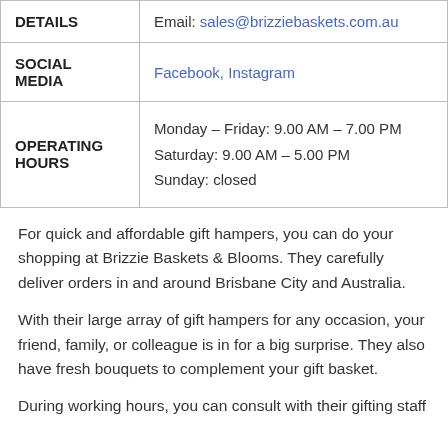|  |  |
| --- | --- |
| DETAILS | Email: sales@brizziebaskets.com.au |
| SOCIAL MEDIA | Facebook, Instagram |
| OPERATING HOURS | Monday – Friday: 9.00 AM – 7.00 PM
Saturday: 9.00 AM – 5.00 PM
Sunday: closed |
For quick and affordable gift hampers, you can do your shopping at Brizzie Baskets & Blooms. They carefully deliver orders in and around Brisbane City and Australia.
With their large array of gift hampers for any occasion, your friend, family, or colleague is in for a big surprise. They also have fresh bouquets to complement your gift basket.
During working hours, you can consult with their gifting staff to discuss your ideas and requirements. When it's not hours...